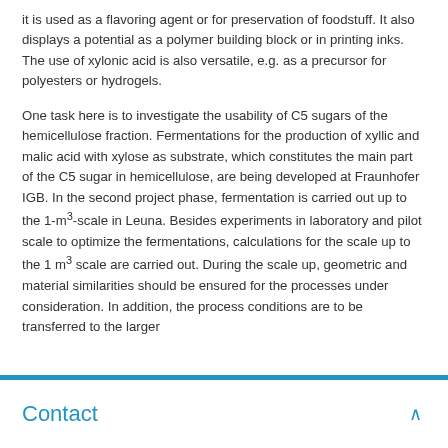it is used as a flavoring agent or for preservation of foodstuff. It also displays a potential as a polymer building block or in printing inks. The use of xylonic acid is also versatile, e.g. as a precursor for polyesters or hydrogels.
One task here is to investigate the usability of C5 sugars of the hemicellulose fraction. Fermentations for the production of xyllic and malic acid with xylose as substrate, which constitutes the main part of the C5 sugar in hemicellulose, are being developed at Fraunhofer IGB. In the second project phase, fermentation is carried out up to the 1-m³-scale in Leuna. Besides experiments in laboratory and pilot scale to optimize the fermentations, calculations for the scale up to the 1 m³ scale are carried out. During the scale up, geometric and material similarities should be ensured for the processes under consideration. In addition, the process conditions are to be transferred to the larger
Contact